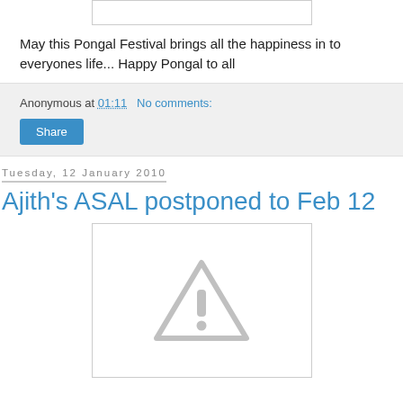[Figure (other): Top partial image, cropped at top of page, white rectangle with light gray border]
May this Pongal Festival brings all the happiness in to everyones life... Happy Pongal to all
Anonymous at 01:11   No comments:
Share
Tuesday, 12 January 2010
Ajith's ASAL postponed to Feb 12
[Figure (other): Image placeholder with gray triangle warning/exclamation icon on white background with gray border]